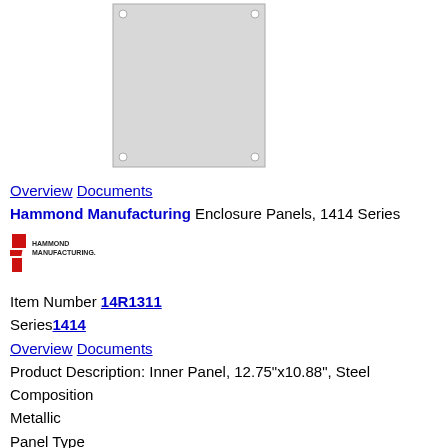[Figure (photo): Product photo of a rectangular steel inner panel, flat, light gray, with mounting holes at corners]
Overview Documents
Hammond Manufacturing Enclosure Panels, 1414 Series
[Figure (logo): Hammond Manufacturing logo — red stylized H-M mark with HAMMOND MANUFACTURING text]
Item Number 14R1311
Series1414
Overview Documents
Product Description: Inner Panel, 12.75"x10.88", Steel
Composition
Metallic
Panel Type
Inner